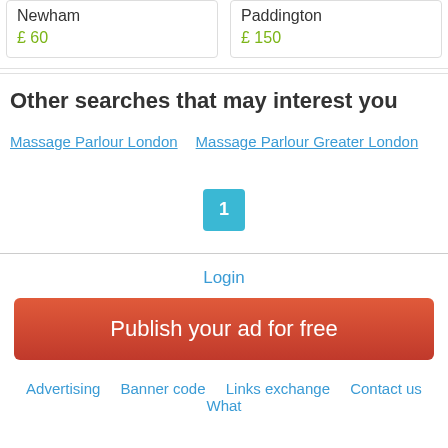Newham
£ 60
Paddington
£ 150
Other searches that may interest you
Massage Parlour London   Massage Parlour Greater London
1
Login
Publish your ad for free
Advertising   Banner code   Links exchange   Contact us   What